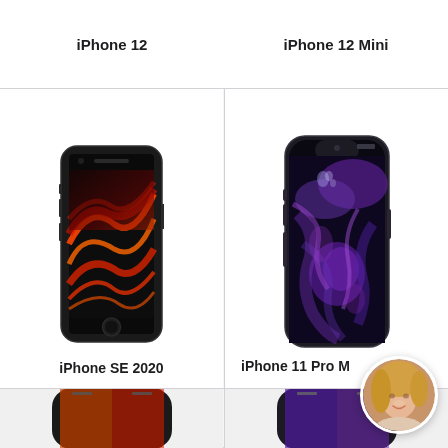iPhone 12
iPhone 12 Mini
[Figure (photo): iPhone SE 2020 - black iPhone with home button, displaying a red and orange wave abstract wallpaper]
[Figure (photo): iPhone 11 Pro Max - black notched iPhone displaying a purple abstract fluid wallpaper]
iPhone SE 2020
iPhone 11 Pro Ma...
[Figure (photo): Partial view of another iPhone at the bottom left]
[Figure (photo): Partial view of another iPhone at the bottom right]
[Figure (photo): Circular avatar photo of a woman with blonde hair]